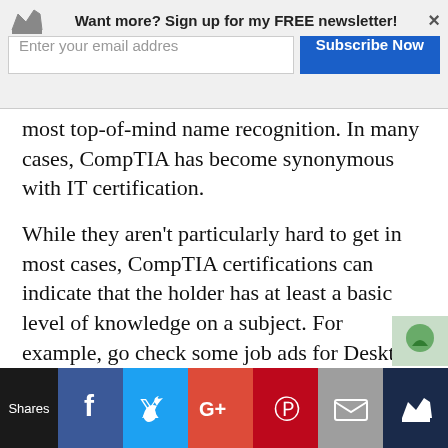Want more? Sign up for my FREE newsletter!
most top-of-mind name recognition. In many cases, CompTIA has become synonymous with IT certification.
While they aren't particularly hard to get in most cases, CompTIA certifications can indicate that the holder has at least a basic level of knowledge on a subject. For example, go check some job ads for Desktop Support  or Help Desk. You'll see that you can get brownie points for A+, and some even require it.
Shares | Facebook | Twitter | G+ | Pinterest | Email | Crown